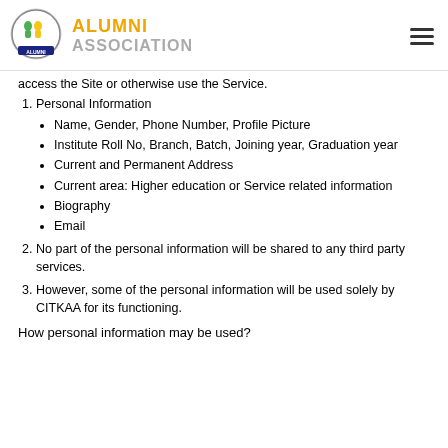ALUMNI ASSOCIATION
access the Site or otherwise use the Service.
1. Personal Information
Name, Gender, Phone Number, Profile Picture
Institute Roll No, Branch, Batch, Joining year, Graduation year
Current and Permanent Address
Current area: Higher education or Service related information
Biography
Email
2. No part of the personal information will be shared to any third party services.
3. However, some of the personal information will be used solely by CITKAA for its functioning.
How personal information may be used?